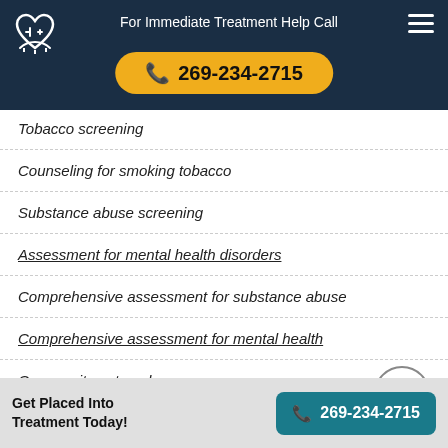For Immediate Treatment Help Call 269-234-2715
Tobacco screening
Counseling for smoking tobacco
Substance abuse screening
Assessment for mental health disorders
Comprehensive assessment for substance abuse
Comprehensive assessment for mental health
Community outreach
Interim services for clients
Get Placed Into Treatment Today! 269-234-2715